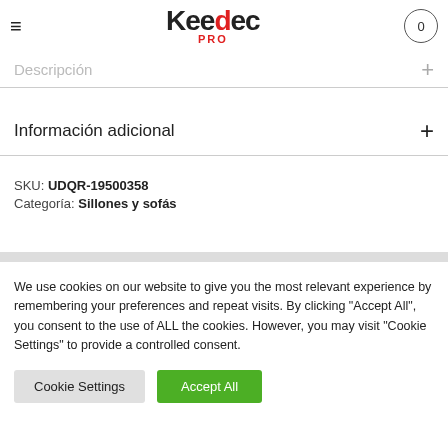Keedec PRO
Descripción
Información adicional
SKU: UDQR-19500358
Categoría: Sillones y sofás
We use cookies on our website to give you the most relevant experience by remembering your preferences and repeat visits. By clicking "Accept All", you consent to the use of ALL the cookies. However, you may visit "Cookie Settings" to provide a controlled consent.
Cookie Settings    Accept All